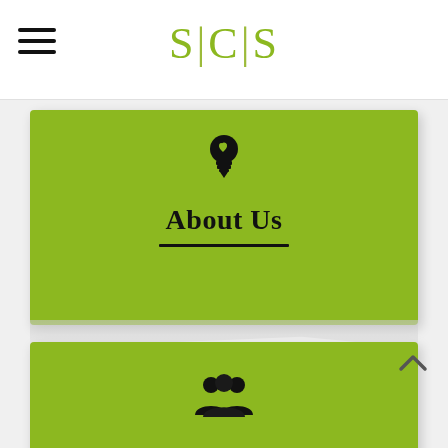SCS
[Figure (illustration): Green card with lightbulb icon, 'About Us' heading and underline]
[Figure (illustration): Green card with group/team icon and 'Our Team' heading, partially visible]